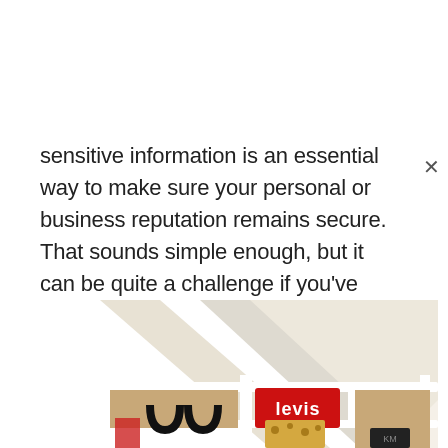sensitive information is an essential way to make sure your personal or business reputation remains secure. That sounds simple enough, but it can be quite a challenge if you've got kid.
[Figure (photo): Interior photo of a children's loft bed or bunk bed area with white wooden railings and slanted ceiling. A red Levi's cushion or item is visible between the white slats. The space below has red and wooden/tan colored items.]